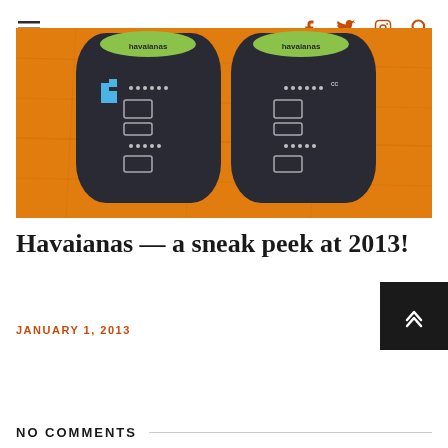≡  f  𝓽  ☷  🔍
[Figure (photo): Top-down photo of two Havaianas flip-flops with dark soles featuring Pac-Man style pixel art graphics and green brand logo text, placed on an orange wooden surface.]
Havaianas — a sneak peek at 2013!
JANUARY 1, 2013
NO COMMENTS